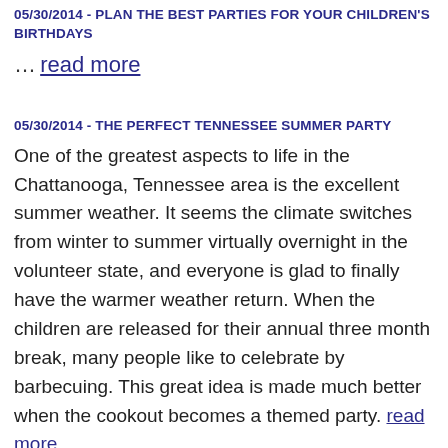05/30/2014 - PLAN THE BEST PARTIES FOR YOUR CHILDREN'S BIRTHDAYS
… read more
05/30/2014 - THE PERFECT TENNESSEE SUMMER PARTY
One of the greatest aspects to life in the Chattanooga, Tennessee area is the excellent summer weather. It seems the climate switches from winter to summer virtually overnight in the volunteer state, and everyone is glad to finally have the warmer weather return. When the children are released for their annual three month break, many people like to celebrate by barbecuing. This great idea is made much better when the cookout becomes a themed party. read more